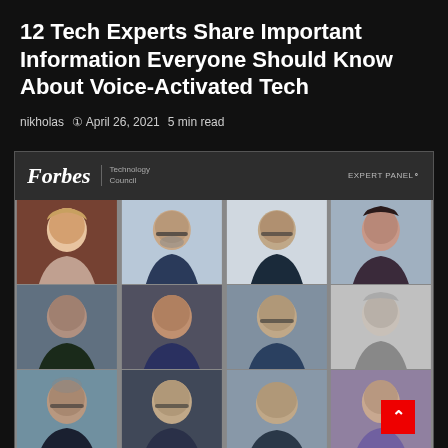12 Tech Experts Share Important Information Everyone Should Know About Voice-Activated Tech
nikholas  ⊙ April 26, 2021  5 min read
[Figure (photo): Forbes Technology Council Expert Panel image showing 12 tech experts in a 4x3 grid of headshot photos, with the Forbes Technology Council header and 'EXPERT PANEL' label at the top.]